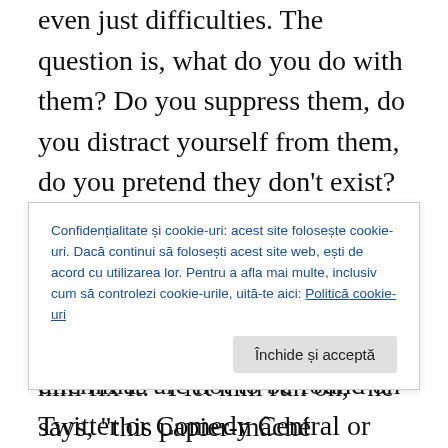even just difficulties. The question is, what do you do with them? Do you suppress them, do you distract yourself from them, do you pretend they don't exist? Or do you confront them directly, honestly, courageously? If you decide to do so, you will find that the answers to these dilemmas are not to be found on Twitter or Comedy Central or even in The New York Times. They can only be found within—without distractions, without peer pressure, in solitude.
But let me be clear that solitude doesn't always have to mean introspection. Let's go back to Heart of Darkness
Confidențialitate și cookie-uri: acest site folosește cookie-uri. Dacă continui să folosești acest site web, ești de acord cu utilizarea lor. Pentru a afla mai multe, inclusiv cum să controlezi cookie-urile, uită-te aici: Politică cookie-uri
Închide și acceptă
him fix it. "I let him run on," he says, "this papier-mâché